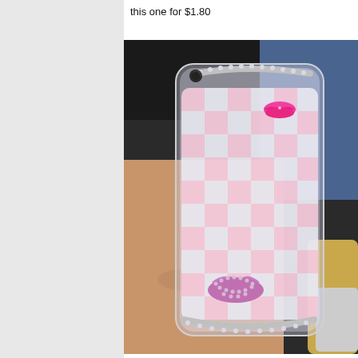this one for $1.80
[Figure (photo): A hand holding a decorative iPhone case with a pink and white checkerboard pattern made of glossy tiles, adorned with rhinestone lip embellishments and silver crystal trim along the edges.]